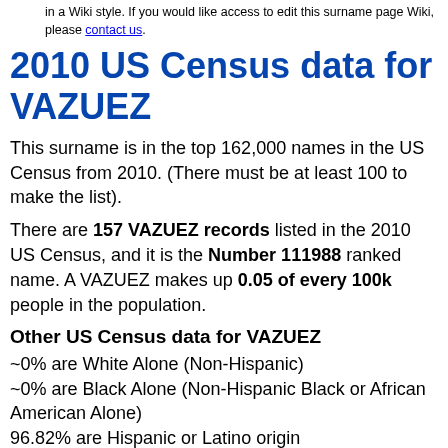in a Wiki style. If you would like access to edit this surname page Wiki, please contact us.
2010 US Census data for VAZUEZ
This surname is in the top 162,000 names in the US Census from 2010. (There must be at least 100 to make the list).
There are 157 VAZUEZ records listed in the 2010 US Census, and it is the Number 111988 ranked name. A VAZUEZ makes up 0.05 of every 100k people in the population.
Other US Census data for VAZUEZ
~0% are White Alone (Non-Hispanic)
~0% are Black Alone (Non-Hispanic Black or African American Alone)
96.82% are Hispanic or Latino origin
~0% are Asian Alone (Non-Hispanic Asian and Native Hawaiian and Other Pacific Islander Alone)
~0% are American Indian (Non-Hispanic